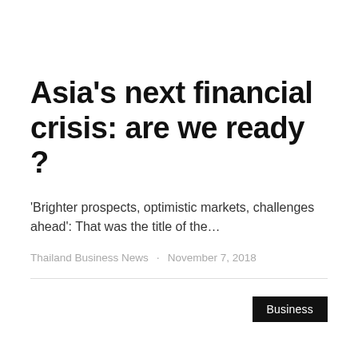Asia's next financial crisis: are we ready ?
'Brighter prospects, optimistic markets, challenges ahead': That was the title of the…
Thailand Business News · November 7, 2018
Business